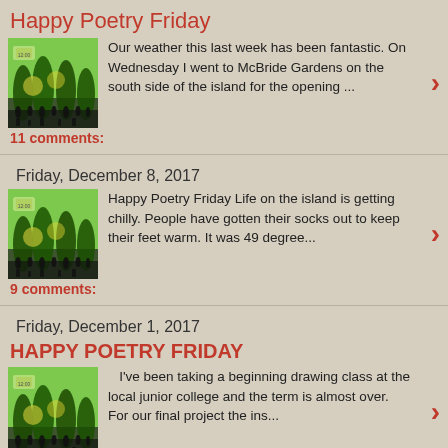Happy Poetry Friday
[Figure (illustration): Green illustration with silhouetted trees and people on a lawn]
Our weather this last week has been fantastic.  On Wednesday I went to McBride Gardens on the south side of the island for the opening ...
11 comments:
Friday, December 8, 2017
[Figure (illustration): Green illustration with silhouetted trees and people on a lawn]
Happy Poetry Friday Life on the island is getting chilly.  People have gotten their socks out to keep their feet warm. It was 49 degree...
9 comments:
Friday, December 1, 2017
HAPPY POETRY FRIDAY
[Figure (illustration): Green illustration with silhouetted trees and people on a lawn]
I've been taking a beginning drawing class at the local junior college and the term is almost over.  For our final project the ins...